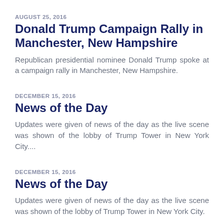AUGUST 25, 2016
Donald Trump Campaign Rally in Manchester, New Hampshire
Republican presidential nominee Donald Trump spoke at a campaign rally in Manchester, New Hampshire.
DECEMBER 15, 2016
News of the Day
Updates were given of news of the day as the live scene was shown of the lobby of Trump Tower in New York City....
DECEMBER 15, 2016
News of the Day
Updates were given of news of the day as the live scene was shown of the lobby of Trump Tower in New York City.